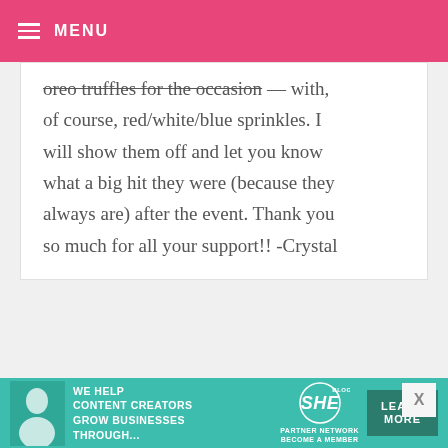MENU
oreo truffles for the occasion — with, of course, red/white/blue sprinkles. I will show them off and let you know what a big hit they were (because they always are) after the event. Thank you so much for all your support!! -Crystal
JAMES AND MONICA — JULY 3, 2009 @ 9:22 PM  REPLY
I just cried!! Could be cause I'm an emotional pregnant lady, but that was
[Figure (other): SHE Partner Network advertisement banner with learn more button]